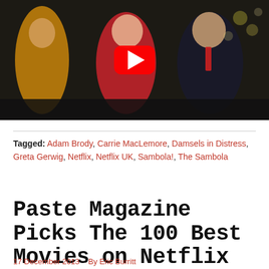[Figure (screenshot): YouTube video thumbnail showing people dancing, with a red YouTube play button overlay in the center]
Tagged: Adam Brody, Carrie MacLemore, Damsels in Distress, Greta Gerwig, Netflix, Netflix UK, Sambola!, The Sambola
Paste Magazine Picks The 100 Best Movies on Netflix Instant
17 December 2013   By Eric Burritt